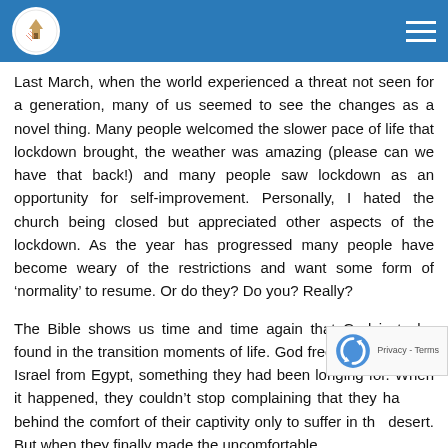Last March, when the world experienced a threat not seen for a generation, many of us seemed to see the changes as a novel thing. Many people welcomed the slower pace of life that lockdown brought, the weather was amazing (please can we have that back!) and many people saw lockdown as an opportunity for self-improvement. Personally, I hated the church being closed but appreciated other aspects of the lockdown. As the year has progressed many people have become weary of the restrictions and want some form of ‘normality’ to resume. Or do they? Do you? Really?
The Bible shows us time and time again that God is to be found in the transition moments of life. God freed the people of Israel from Egypt, something they had been longing for. When it happened, they couldn’t stop complaining that they had behind the comfort of their captivity only to suffer in the desert. But when they finally made the uncomfortable